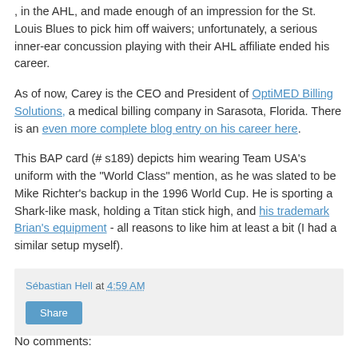, in the AHL, and made enough of an impression for the St. Louis Blues to pick him off waivers; unfortunately, a serious inner-ear concussion playing with their AHL affiliate ended his career.
As of now, Carey is the CEO and President of OptiMED Billing Solutions, a medical billing company in Sarasota, Florida. There is an even more complete blog entry on his career here.
This BAP card (# s189) depicts him wearing Team USA's uniform with the "World Class" mention, as he was slated to be Mike Richter's backup in the 1996 World Cup. He is sporting a Shark-like mask, holding a Titan stick high, and his trademark Brian's equipment - all reasons to like him at least a bit (I had a similar setup myself).
Sébastian Hell at 4:59 AM
Share
No comments: